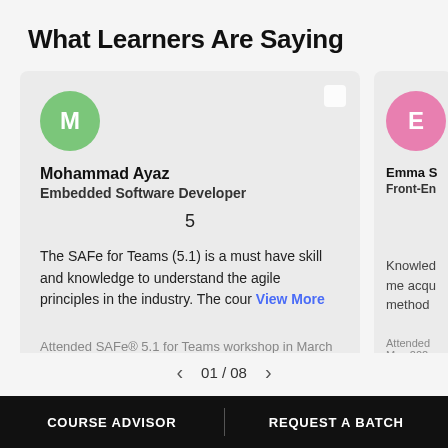What Learners Are Saying
Mohammad Ayaz
Embedded Software Developer
5
The SAFe for Teams (5.1) is a must have skill and knowledge to understand the agile principles in the industry. The cour View More
Attended SAFe® 5.1 for Teams workshop in March 2021
Emma S
Front-En...
Knowledge... me acqu... method...
Attended... May 202...
01 / 08
COURSE ADVISOR | REQUEST A BATCH